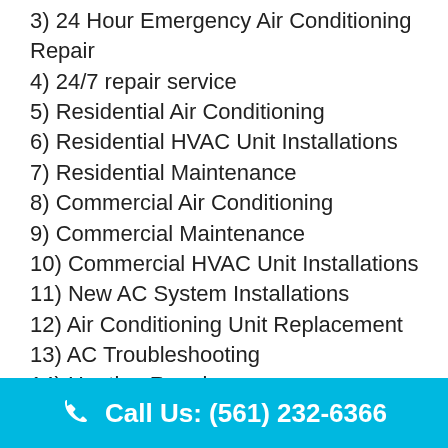3) 24 Hour Emergency Air Conditioning Repair
4) 24/7 repair service
5) Residential Air Conditioning
6) Residential HVAC Unit Installations
7) Residential Maintenance
8) Commercial Air Conditioning
9) Commercial Maintenance
10) Commercial HVAC Unit Installations
11) New AC System Installations
12) Air Conditioning Unit Replacement
13) AC Troubleshooting
14) Heating Repair
15) Electrical Repair and Maintenance
16) AC Tune Ups
17) Monthly AC Maintenance
Call Us: (561) 232-6366